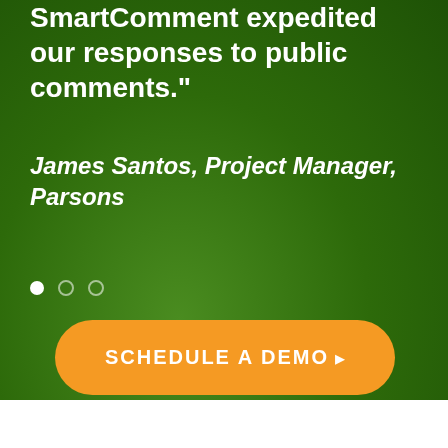SmartComment expedited our responses to public comments."
James Santos, Project Manager, Parsons
[Figure (other): Three dots (carousel indicators): one white filled, two outlined]
SCHEDULE A DEMO >